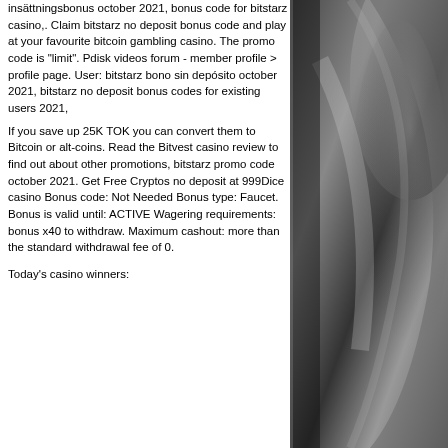insättningsbonus october 2021, bonus code for bitstarz casino,. Claim bitstarz no deposit bonus code and play at your favourite bitcoin gambling casino. The promo code is &quot;limit&quot;. Pdisk videos forum - member profile &gt; profile page. User: bitstarz bono sin depósito october 2021, bitstarz no deposit bonus codes for existing users 2021,
If you save up 25K TOK you can convert them to Bitcoin or alt-coins. Read the Bitvest casino review to find out about other promotions, bitstarz promo code october 2021. Get Free Cryptos no deposit at 999Dice casino Bonus code: Not Needed Bonus type: Faucet. Bonus is valid until: ACTIVE Wagering requirements: bonus x40 to withdraw. Maximum cashout: more than the standard withdrawal fee of 0.
Today's casino winners:
[Figure (photo): Black and white photo of a car, showing reflective chrome/metal surface details]